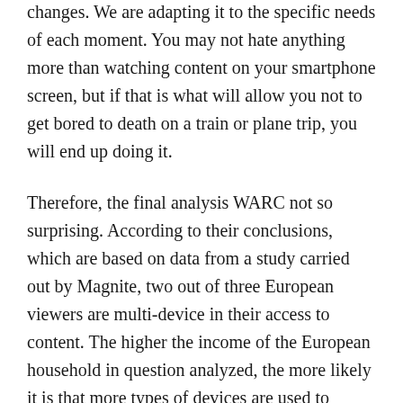changes. We are adapting it to the specific needs of each moment. You may not hate anything more than watching content on your smartphone screen, but if that is what will allow you not to get bored to death on a train or plane trip, you will end up doing it.
Therefore, the final analysis WARC not so surprising. According to their conclusions, which are based on data from a study carried out by Magnite, two out of three European viewers are multi-device in their access to content. The higher the income of the European household in question analyzed, the more likely it is that more types of devices are used to access content.